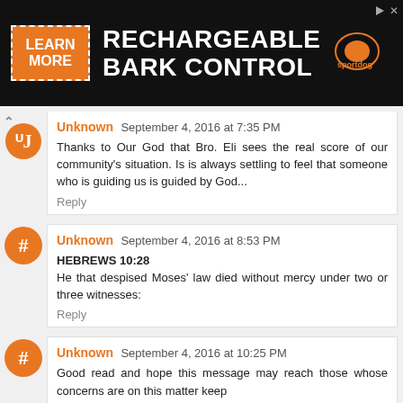[Figure (screenshot): Advertisement banner for SportDog Rechargeable Bark Control product with orange Learn More button on black background]
Unknown September 4, 2016 at 7:35 PM
Thanks to Our God that Bro. Eli sees the real score of our community's situation. Is is always settling to feel that someone who is guiding us is guided by God...
Reply
Unknown September 4, 2016 at 8:53 PM
HEBREWS 10:28
He that despised Moses' law died without mercy under two or three witnesses:
Reply
Unknown September 4, 2016 at 10:25 PM
Good read and hope this message may reach those whose concerns are on this matter keep